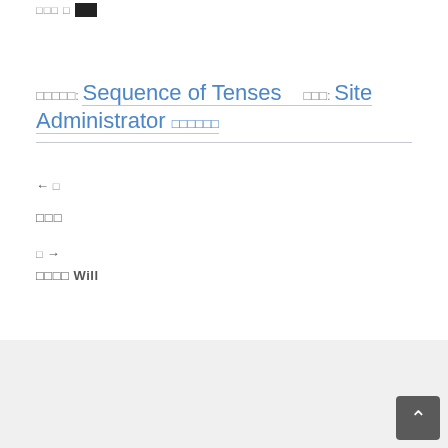□□□ □■
□□□□□: Sequence of Tenses　□□: Site Administrator □□□□□□
← □
□□□
□ →
□□□□ Will
Category
□□□□□□□□□